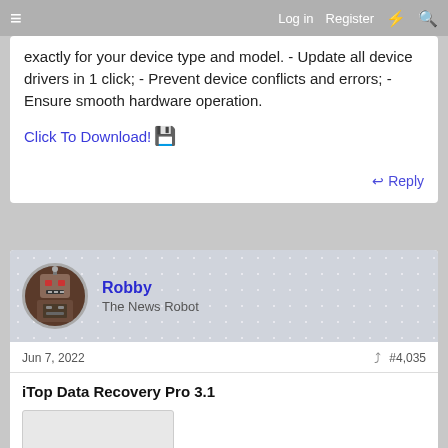Log in  Register
exactly for your device type and model. - Update all device drivers in 1 click; - Prevent device conflicts and errors; - Ensure smooth hardware operation.
Click To Download! 💾
↩ Reply
Robby
The News Robot
Jun 7, 2022  #4,035
iTop Data Recovery Pro 3.1
[Figure (screenshot): Screenshot/image placeholder box]